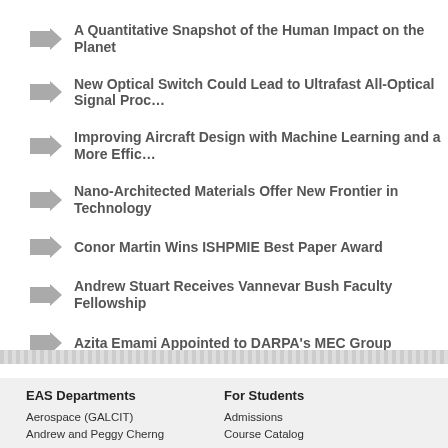A Quantitative Snapshot of the Human Impact on the Planet
New Optical Switch Could Lead to Ultrafast All-Optical Signal Proc…
Improving Aircraft Design with Machine Learning and a More Effic…
Nano-Architected Materials Offer New Frontier in Technology
Conor Martin Wins ISHPMIE Best Paper Award
Andrew Stuart Receives Vannevar Bush Faculty Fellowship
Azita Emami Appointed to DARPA's MEC Group
EAS Departments
Aerospace (GALCIT)
Andrew and Peggy Cherng Department of Medical Engineering
For Students
Admissions
Course Catalog
Summer Programs